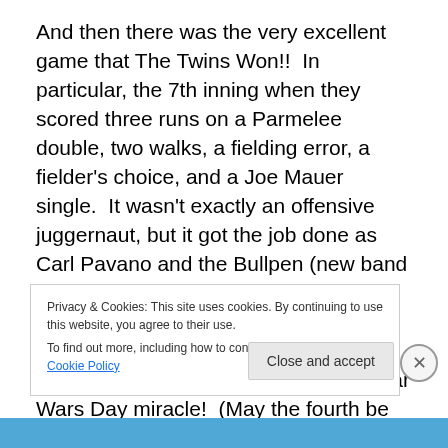And then there was the very excellent  game that The Twins Won!!  In particular, the 7th inning when they scored three runs on a Parmelee double, two walks, a fielding error, a fielder's choice, and a Joe Mauer single.  It wasn't exactly an offensive juggernaut, but it got the job done as Carl Pavano and the Bullpen (new band playing covers at the local bar?) held the Mariners to only two runs.  Matt Capps even came and pitched a 1-2-3 9th inning with two strikeouts.  It's a Star Wars Day miracle!  (May the fourth be with you…)  Maybe they can do it again tomorrow
Privacy & Cookies: This site uses cookies. By continuing to use this website, you agree to their use.
To find out more, including how to control cookies, see here: Cookie Policy
Close and accept